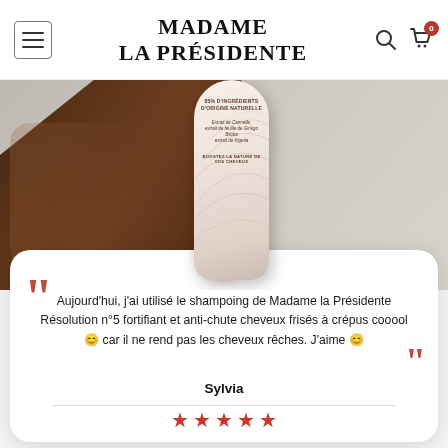MADAME LA PRÉSIDENTE
[Figure (photo): A dark-skinned hand holding a white and rose-patterned tube of shampoo product labeled '95% D'INGRÉDIENTS D'ORIGINE NATURELLE' with botanical ingredient names including Extrait de Cannelle, extrait de feuille de Ginkgo Biloba, extrait de Kigelia. Tagline: BOOSTEZ LA NATURE DE VOS CHEVEUX.]
Aujourd'hui, j'ai utilisé le shampoing de Madame la Présidente Résolution n°5 fortifiant et anti-chute cheveux frisés à crépus cooool 😊 car il ne rend pas les cheveux rêches. J'aime 😊
Sylvia
★★★★★